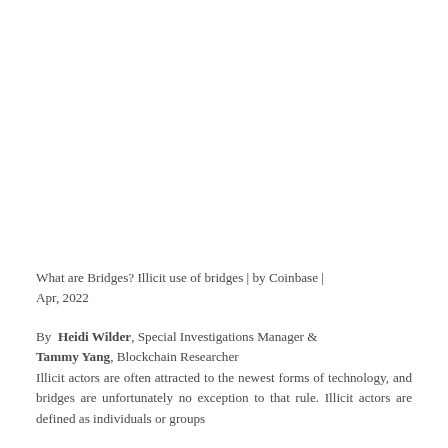What are Bridges? Illicit use of bridges | by Coinbase | Apr, 2022
By Heidi Wilder, Special Investigations Manager & Tammy Yang, Blockchain Researcher
Illicit actors are often attracted to the newest forms of technology, and bridges are unfortunately no exception to that rule. Illicit actors are defined as individuals or groups